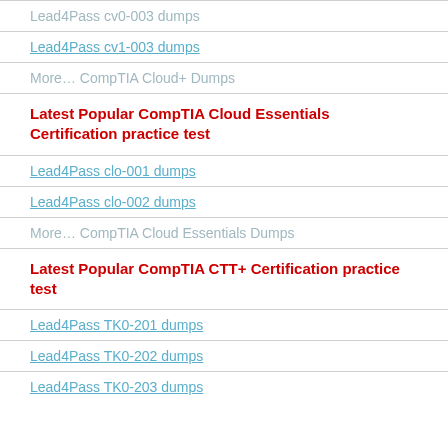Lead4Pass cv0-003 dumps
Lead4Pass cv1-003 dumps
More… CompTIA Cloud+ Dumps
Latest Popular CompTIA Cloud Essentials Certification practice test
Lead4Pass clo-001 dumps
Lead4Pass clo-002 dumps
More… CompTIA Cloud Essentials Dumps
Latest Popular CompTIA CTT+ Certification practice test
Lead4Pass TK0-201 dumps
Lead4Pass TK0-202 dumps
Lead4Pass TK0-203 dumps